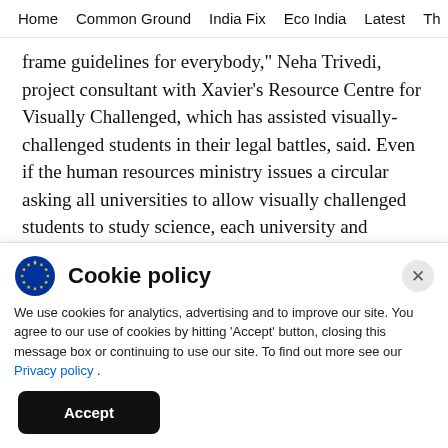Home   Common Ground   India Fix   Eco India   Latest   Th
frame guidelines for everybody," Neha Trivedi, project consultant with Xavier's Resource Centre for Visually Challenged, which has assisted visually-challenged students in their legal battles, said. Even if the human resources ministry issues a circular asking all universities to allow visually challenged students to study science, each university and college has to accept the directive and enable it
Cookie policy
We use cookies for analytics, advertising and to improve our site. You agree to our use of cookies by hitting 'Accept' button, closing this message box or continuing to use our site. To find out more see our Privacy policy .
Accept